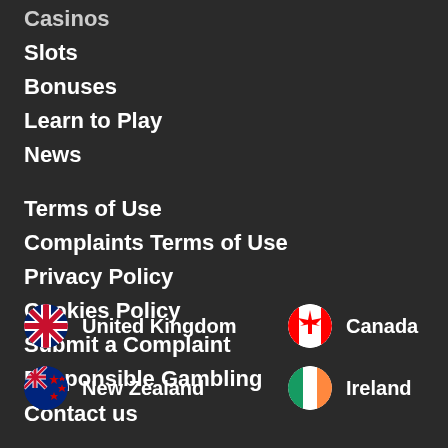Casinos
Slots
Bonuses
Learn to Play
News
Terms of Use
Complaints Terms of Use
Privacy Policy
Cookies Policy
Submit a Complaint
Responsible Gambling
Contact us
[Figure (illustration): Country flag icons for United Kingdom, Canada, New Zealand, and Ireland arranged in two rows]